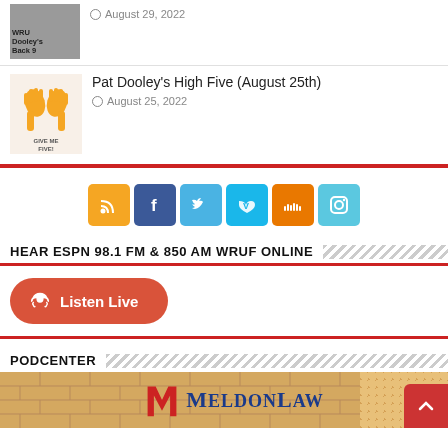[Figure (photo): Thumbnail image of a person with glasses, partially visible, with bold text overlay reading WRUF and Dooley's Back 9]
August 29, 2022
[Figure (illustration): Two illustrated hands giving a high five with text GIVE ME FIVE! below]
Pat Dooley’s High Five (August 25th)
August 25, 2022
[Figure (infographic): Row of six social media icon buttons: RSS (orange), Facebook (blue), Twitter (light blue), Vimeo (teal), SoundCloud (orange), Instagram (light blue)]
HEAR ESPN 98.1 FM & 850 AM WRUF ONLINE
[Figure (screenshot): Red rounded button with headphone icon and text Listen Live]
PODCENTER
[Figure (logo): MeldonLaw advertisement banner with brick-pattern background, red M logo and blue MELDONLAW text]